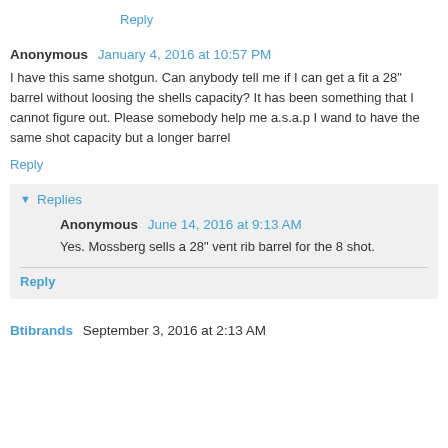Reply
Anonymous  January 4, 2016 at 10:57 PM
I have this same shotgun. Can anybody tell me if I can get a fit a 28" barrel without loosing the shells capacity? It has been something that I cannot figure out. Please somebody help me a.s.a.p I wand to have the same shot capacity but a longer barrel
Reply
Replies
Anonymous  June 14, 2016 at 9:13 AM
Yes. Mossberg sells a 28" vent rib barrel for the 8 shot.
Reply
Btibrands  September 3, 2016 at 2:13 AM